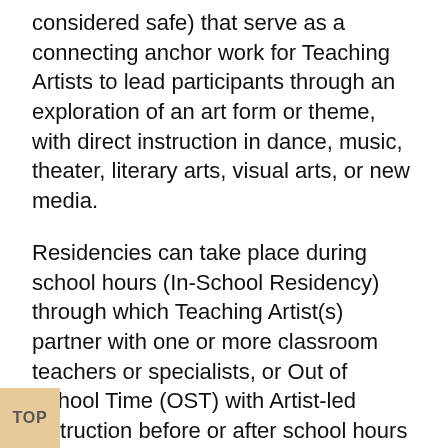considered safe) that serve as a connecting anchor work for Teaching Artists to lead participants through an exploration of an art form or theme, with direct instruction in dance, music, theater, literary arts, visual arts, or new media.
Residencies can take place during school hours (In-School Residency) through which Teaching Artist(s) partner with one or more classroom teachers or specialists, or Out of School Time (OST) with Artist-led instruction before or after school hours with staff or faculty present.
WE ARE NOW OFFERING IN-PERSON AND VIRTUAL RESIDENCIES:
In-Person Residencies are recurring sessions that are available for in-school, after-school, and community-based settings. In-person residency